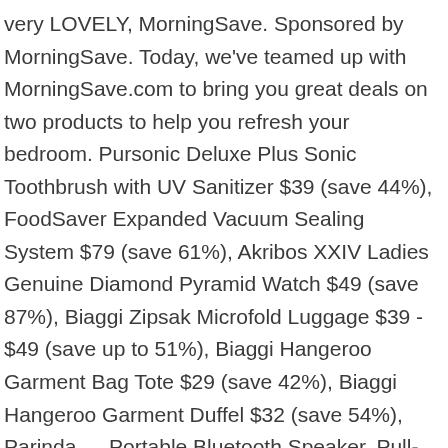very LOVELY, MorningSave. Sponsored by MorningSave. Today, we've teamed up with MorningSave.com to bring you great deals on two products to help you refresh your bedroom. Pursonic Deluxe Plus Sonic Toothbrush with UV Sanitizer $39 (save 44%), FoodSaver Expanded Vacuum Sealing System $79 (save 61%), Akribos XXIV Ladies Genuine Diamond Pyramid Watch $49 (save 87%), Biaggi Zipsak Microfold Luggage $39 - $49 (save up to 51%), Biaggi Hangeroo Garment Bag Tote $29 (save 42%), Biaggi Hangeroo Garment Duffel $32 (save 54%), Parinda … Portable Bluetooth Speaker, Pull-Through Scarf, True Wireless Voice Control Earbuds and more! None of these products are manufactured or endorsed by CBS or The Talk . Aquasonic Limited Series Ultra Whitening Electric Toothbrush $39 (save 74%), Sharper Image Calming